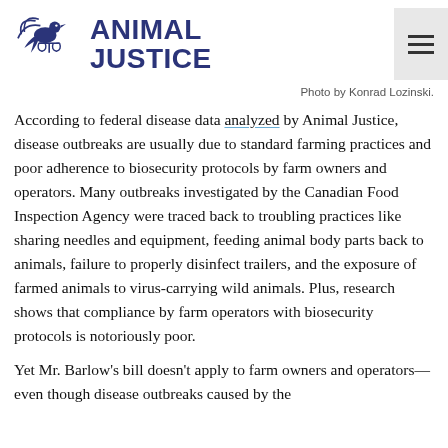[Figure (logo): Animal Justice logo with dove/bird holding scales of justice, beside bold text 'ANIMAL JUSTICE' in dark navy blue]
Photo by Konrad Lozinski.
According to federal disease data analyzed by Animal Justice, disease outbreaks are usually due to standard farming practices and poor adherence to biosecurity protocols by farm owners and operators. Many outbreaks investigated by the Canadian Food Inspection Agency were traced back to troubling practices like sharing needles and equipment, feeding animal body parts back to animals, failure to properly disinfect trailers, and the exposure of farmed animals to virus-carrying wild animals. Plus, research shows that compliance by farm operators with biosecurity protocols is notoriously poor.
Yet Mr. Barlow's bill doesn't apply to farm owners and operators—even though disease outbreaks caused by the